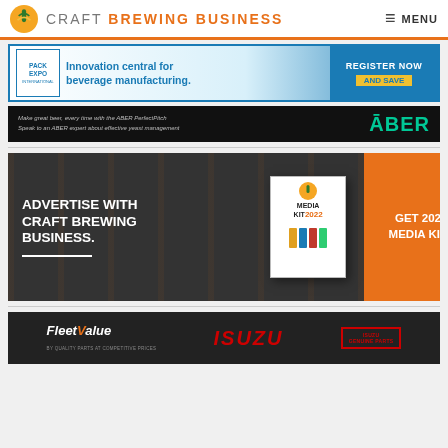CRAFT BREWING BUSINESS | MENU
[Figure (screenshot): Pack Expo International advertisement: Innovation central for beverage manufacturing. Register Now and Save.]
[Figure (screenshot): ABER advertisement: Make great beer, every time with the ABER PerfectPitch. Speak to an ABER expert about effective yeast management.]
[Figure (screenshot): Craft Brewing Business Media Kit 2022 advertisement: Advertise with Craft Brewing Business. Get 2022 Media Kit>]
[Figure (screenshot): Fleet Value / ISUZU / ISUZU Genuine Parts advertisement banner]